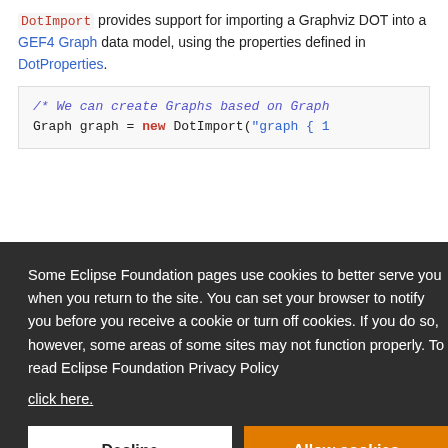DotImport provides support for importing a Graphviz DOT into a GEF4 Graph data model, using the properties defined in DotProperties.
[Figure (screenshot): Code block showing: /* We can create Graphs based on Graph... */ Graph graph = new DotImport("graph { 1...]
Some Eclipse Foundation pages use cookies to better serve you when you return to the site. You can set your browser to notify you before you receive a cookie or turn off cookies. If you do so, however, some areas of some sites may not function properly. To read Eclipse Foundation Privacy Policy click here.
DotExport can be used to serialize a GEF4 Graph-